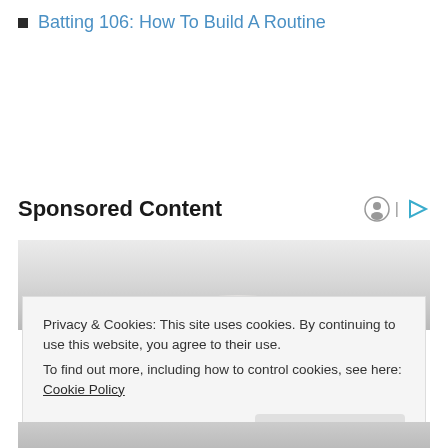Batting 106: How To Build A Routine
Sponsored Content
[Figure (photo): Partial view of a sponsored content advertisement showing a hand or white object against a light gradient background.]
Privacy & Cookies: This site uses cookies. By continuing to use this website, you agree to their use.
To find out more, including how to control cookies, see here: Cookie Policy
Close and accept